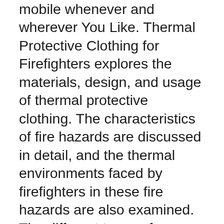mobile whenever and wherever You Like. Thermal Protective Clothing for Firefighters explores the materials, design, and usage of thermal protective clothing. The characteristics of fire hazards are discussed in detail, and the thermal environments faced by firefighters in these fire hazards are also examined. The different types of potential burn injuries and the heat stress that occurs to firefighters' bodies when exposed to such thermal environments are analyzed. Furthermore, the development of various high performance fibers and fabrics for thermal protective clothing is discussed. The test methods and existing standards to evaluate the thermal protective and physiological comfort performances of the fabrics and clothing are critically reviewed.